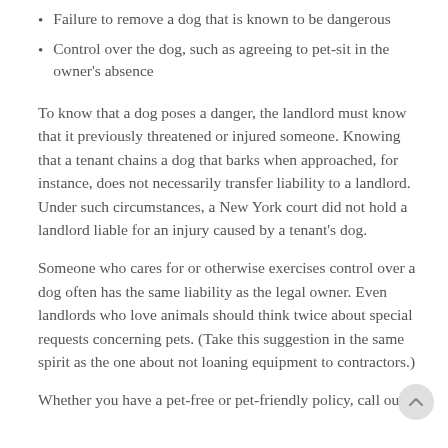Failure to remove a dog that is known to be dangerous
Control over the dog, such as agreeing to pet-sit in the owner's absence
To know that a dog poses a danger, the landlord must know that it previously threatened or injured someone. Knowing that a tenant chains a dog that barks when approached, for instance, does not necessarily transfer liability to a landlord. Under such circumstances, a New York court did not hold a landlord liable for an injury caused by a tenant's dog.
Someone who cares for or otherwise exercises control over a dog often has the same liability as the legal owner. Even landlords who love animals should think twice about special requests concerning pets. (Take this suggestion in the same spirit as the one about not loaning equipment to contractors.)
Whether you have a pet-free or pet-friendly policy, call our